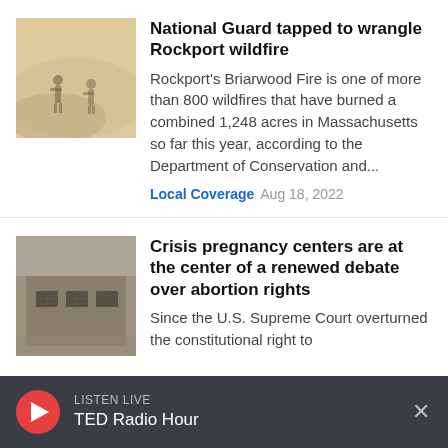[Figure (photo): Hazy wildfire smoke scene with silhouetted figures in orange-tan fog]
National Guard tapped to wrangle Rockport wildfire
Rockport's Briarwood Fire is one of more than 800 wildfires that have burned a combined 1,248 acres in Massachusetts so far this year, according to the Department of Conservation and...
Local Coverage  Aug 18, 2022
[Figure (photo): Gray-toned image of a building exterior with windows]
Crisis pregnancy centers are at the center of a renewed debate over abortion rights
Since the U.S. Supreme Court overturned the constitutional right to
LISTEN LIVE
TED Radio Hour